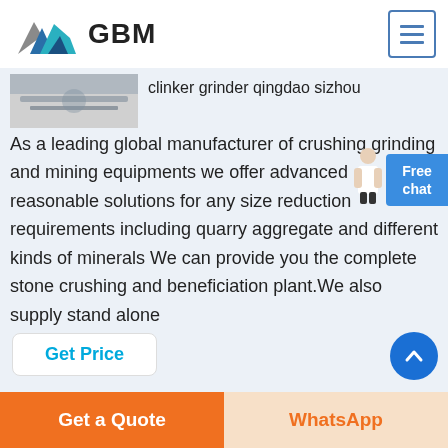[Figure (logo): GBM logo with mountain/arrow graphic and bold GBM text]
[Figure (other): Hamburger menu icon in blue border box]
[Figure (photo): Small thumbnail image of industrial machinery/grinder]
clinker grinder qingdao sizhou As a leading global manufacturer of crushing grinding and mining equipments we offer advanced reasonable solutions for any size reduction requirements including quarry aggregate and different kinds of minerals We can provide you the complete stone crushing and beneficiation plant.We also supply stand alone
[Figure (other): Person in white coat next to blue Free chat button]
Get Price
Get a Quote
WhatsApp